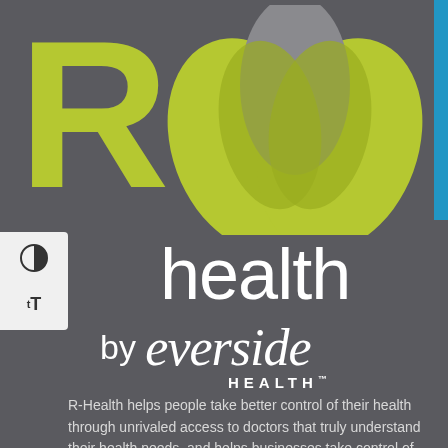[Figure (logo): R-Health by Everside Health logo — large lime-green letter R on left, three overlapping petal/leaf shapes in lime-green and gray forming a lotus/flower above the text 'health by everside HEALTH™' on dark gray background. UI accessibility controls (contrast toggle, text size) appear on the left edge.]
R-Health helps people take better control of their health through unrivaled access to doctors that truly understand their health needs, and helps businesses take control of their finances by